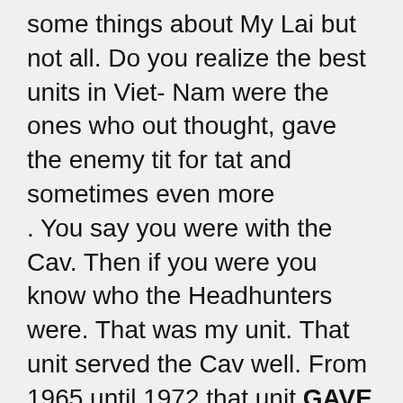some things about My Lai but not all. Do you realize the best units in Viet- Nam were the ones who out thought, gave the enemy tit for tat and sometimes even more . You say you were with the Cav. Then if you were you know who the Headhunters were. That was my unit. That unit served the Cav well. From 1965 until 1972 that unit GAVE THE 1ST CAV HALF OF THE KILLS every year they were there. We laughed at “We were soldiers. The 7th Cav didn’t start that battle! The 1/9 Cavalry did and killed a lot of NVA there the day before. (That was never mentioned in the movie and with one hell of a lot less troops! Troops of the 1/9 started every major battle that 1st Cav was